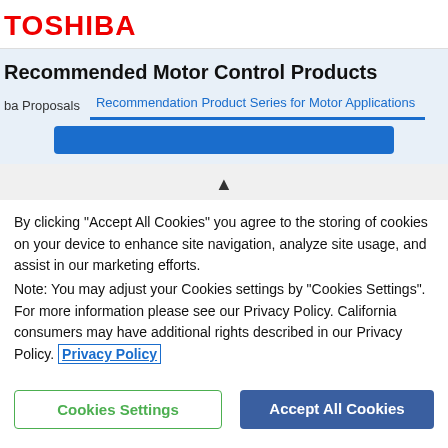TOSHIBA
Recommended Motor Control Products
ba Proposals   Recommendation Product Series for Motor Applications
By clicking “Accept All Cookies” you agree to the storing of cookies on your device to enhance site navigation, analyze site usage, and assist in our marketing efforts.
Note: You may adjust your Cookies settings by “Cookies Settings”. For more information please see our Privacy Policy. California consumers may have additional rights described in our Privacy Policy. Privacy Policy
Cookies Settings
Accept All Cookies